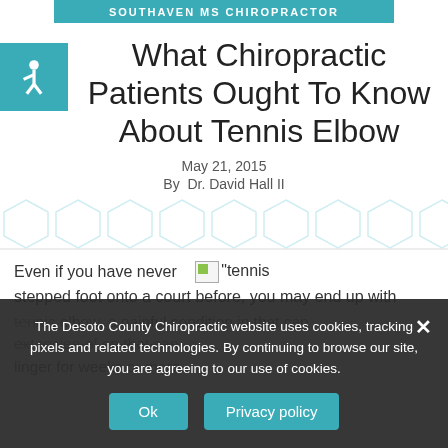SOUTHAVEN MS CHIROPRACTOR
What Chiropractic Patients Ought To Know About Tennis Elbow
May 21, 2015
By  Dr. David Hall II
[Figure (illustration): Decorative hexagon pattern divider]
Even if you have never stepped foot onto a court before, you may end up with tennis elbow, a painful condition in that can linger for weeks or more.
[Figure (photo): Broken image placeholder with label 'tennis']
The Desoto County Chiropractic website uses cookies, tracking pixels and related technologies. By continuing to browse our site, you are agreeing to our use of cookies.